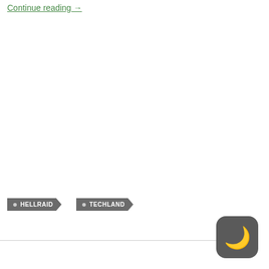Continue reading →
HELLRAID
TECHLAND
[Figure (other): Dark mode toggle button icon — a crescent moon symbol on a dark rounded-square background]